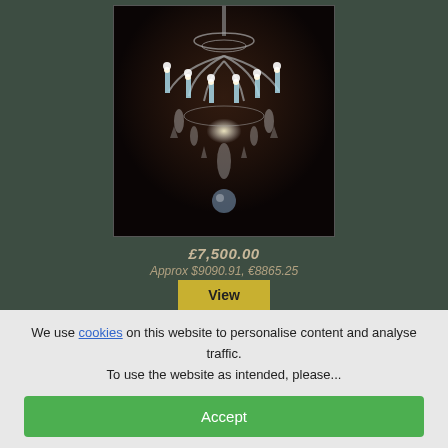[Figure (photo): A crystal chandelier with multiple candle-style lights and hanging crystal droplets, photographed against a dark background.]
£7,500.00
Approx $9090.91, €8865.25
View
We use cookies on this website to personalise content and analyse traffic. To use the website as intended, please...
Accept